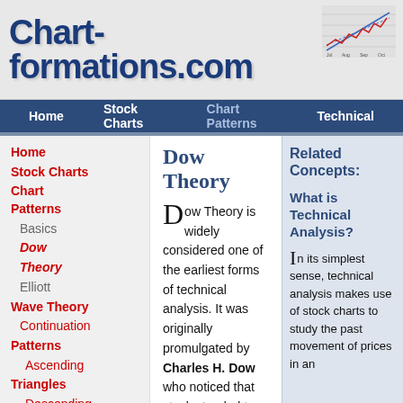[Figure (logo): Chart-formations.com logo with mini stock chart graphic in top right]
Home | Stock Charts | Chart Patterns | Technical
Home
Stock Charts
Chart
Patterns
Basics
Dow Theory
Elliott
Wave Theory
Continuation
Patterns
Ascending
Triangles
Descending
Triangles
Symmetrical
Triangles
Dow Theory
Dow Theory is widely considered one of the earliest forms of technical analysis. It was originally promulgated by Charles H. Dow who noticed that stocks tended to move up or down in trends, and they tend to move together, although the extent of their movements could vary. He used this knowledge to develop the Dow-Jones Averages that are still in use today. Charles Dow did not use his observations to forecast potential price movements but saw it as a barometer of the
Related Concepts:
What is Technical Analysis?
In its simplest sense, technical analysis makes use of stock charts to study the past movement of prices in an